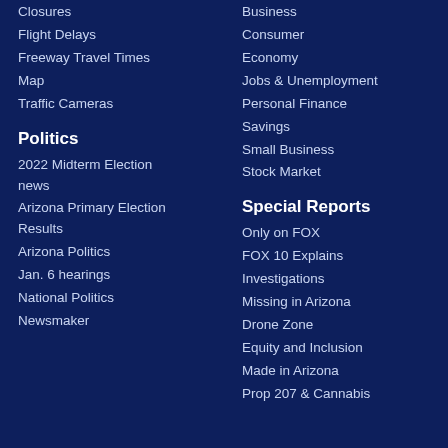Closures
Flight Delays
Freeway Travel Times
Map
Traffic Cameras
Business
Consumer
Economy
Jobs & Unemployment
Personal Finance
Savings
Small Business
Stock Market
Politics
2022 Midterm Election news
Arizona Primary Election Results
Arizona Politics
Jan. 6 hearings
National Politics
Newsmaker
Special Reports
Only on FOX
FOX 10 Explains
Investigations
Missing in Arizona
Drone Zone
Equity and Inclusion
Made in Arizona
Prop 207 & Cannabis